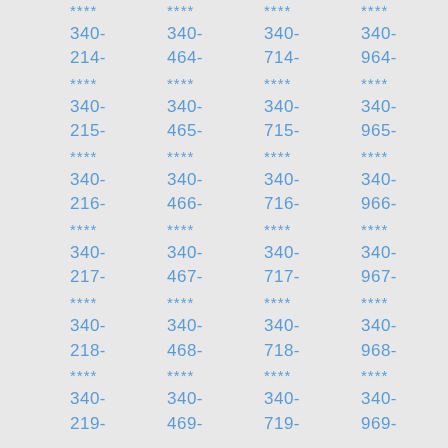****
340-
214-
****
340-
215-
****
340-
216-
****
340-
217-
****
340-
218-
****
340-
219-
****
340-
464-
****
340-
465-
****
340-
466-
****
340-
467-
****
340-
468-
****
340-
469-
****
340-
714-
****
340-
715-
****
340-
716-
****
340-
717-
****
340-
718-
****
340-
719-
****
340-
964-
****
340-
965-
****
340-
966-
****
340-
967-
****
340-
968-
****
340-
969-